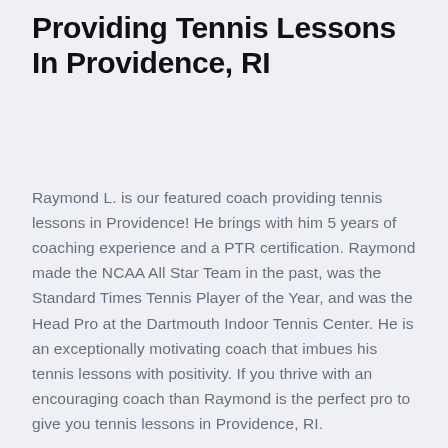Providing Tennis Lessons In Providence, RI
Raymond L. is our featured coach providing tennis lessons in Providence! He brings with him 5 years of coaching experience and a PTR certification. Raymond made the NCAA All Star Team in the past, was the Standard Times Tennis Player of the Year, and was the Head Pro at the Dartmouth Indoor Tennis Center. He is an exceptionally motivating coach that imbues his tennis lessons with positivity. If you thrive with an encouraging coach than Raymond is the perfect pro to give you tennis lessons in Providence, RI.